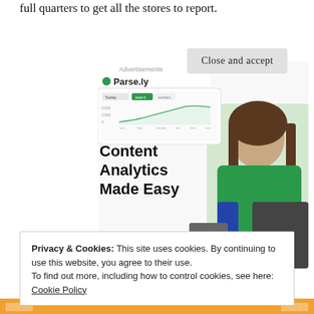full quarters to get all the stores to report.
[Figure (screenshot): Parse.ly advertisement showing 'Content Analytics Made Easy' with a photo of a smiling woman in a green sweater and a dashboard screenshot]
Privacy & Cookies: This site uses cookies. By continuing to use this website, you agree to their use.
To find out more, including how to control cookies, see here:
Cookie Policy
Close and accept